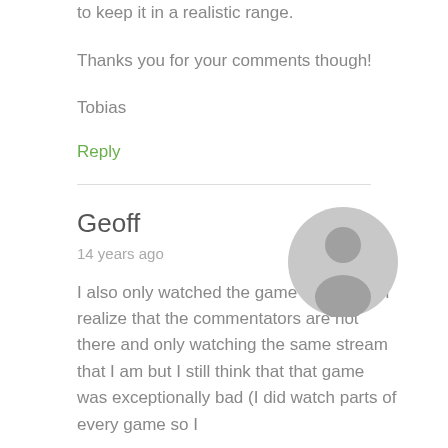to keep it in a realistic range.
Thanks you for your comments though!
Tobias
Reply
Geoff
14 years ago
[Figure (illustration): Generic user avatar icon — a grey circle with a silhouette of a person]
I also only watched the game online and I realize that the commentators are not there and only watching the same stream that I am but I still think that that game was exceptionally bad (I did watch parts of every game so I